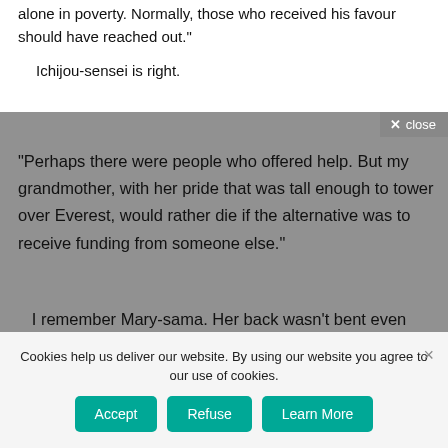alone in poverty. Normally, those who received his favour should have reached out.”
Ichijou-sensei is right.
“Perhaps there were people who offered help. But my grandmother, with her pride that was tall enough to tower over Everest, would rather die if the alternative was to receive funding from someone else.”
I remember Mary-sama. Her back wasn’t bent even after her 90s, and her fingers looked beautiful. And she thus played the piano wilfully.
Cookies help us deliver our website. By using our website you agree to our use of cookies.